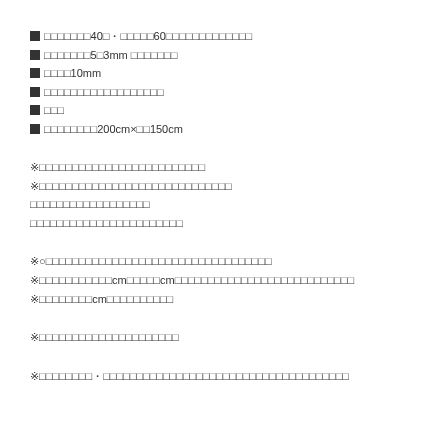■□□□□□□□40□・□□□□□60□□□□□□□□□□□□□
■□□□□□□□5□3mm □□□□□□□
■□□□□10mm
■□□□□□□□□□□□□□□□□□
■□□□
■□□□□□□□□200cm×□□150cm
※□□□□□□□□□□□□□□□□□□□□□□□□□
※□□□□□□□□□□□□□□□□□□□□□□□□□□□□□
□□□□□□□□□□□□□□□□□□
□□□□□□□□□□□□□□□□□□□□□□□
※○□□□□□□□□□□□□□□□□□□□□□□□□□□□□□□□□□□
※□□□□□□□□□□□cmm□□□□□cm□□□□□□□□□□□□□□□□□□□□□□□□□□□
※□□□□□□□□cm□□□□□□□□□□
※□□□□□□□□□□□□□□□□□□□□□
※□□□□□□□□・□□□□□□□□□□□□□□□□□□□□□□□□□□□□□□□□□□□□□